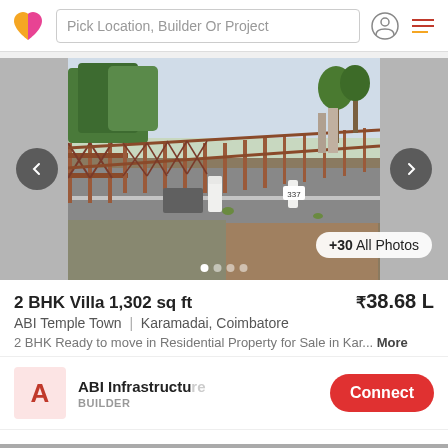Pick Location, Builder Or Project
[Figure (photo): Exterior photo of a real estate plot/road in Karamadai, Coimbatore showing a paved road with a fence, milestones, and palm trees in the background. Navigation arrows on left and right. Photo carousel with +30 All Photos button.]
2 BHK Villa 1,302 sq ft ₹38.68 L
ABI Temple Town | Karamadai, Coimbatore
2 BHK Ready to move in Residential Property for Sale in Kar... More
ABI Infrastructure BUILDER
Connect